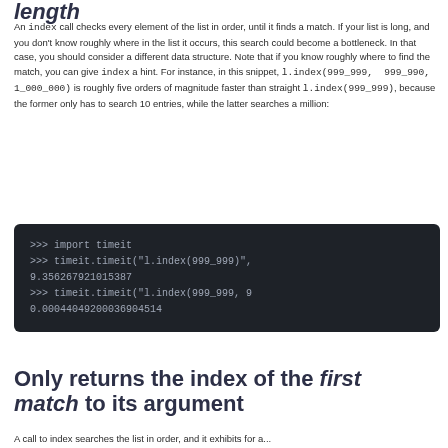length
An index call checks every element of the list in order, until it finds a match. If your list is long, and you don't know roughly where in the list it occurs, this search could become a bottleneck. In that case, you should consider a different data structure. Note that if you know roughly where to find the match, you can give index a hint. For instance, in this snippet, l.index(999_999, 999_990, 1_000_000) is roughly five orders of magnitude faster than straight l.index(999_999), because the former only has to search 10 entries, while the latter searches a million:
[Figure (screenshot): Dark-themed Python REPL code block showing timeit benchmarks: >>> import timeit, >>> timeit.timeit("l.index(999_999)", ...) giving 9.356267921015387, and >>> timeit.timeit("l.index(999_999, 9...") giving 0.00044049200036904514]
Only returns the index of the first match to its argument
A call to index searches the list in order, and it exhibits for a...